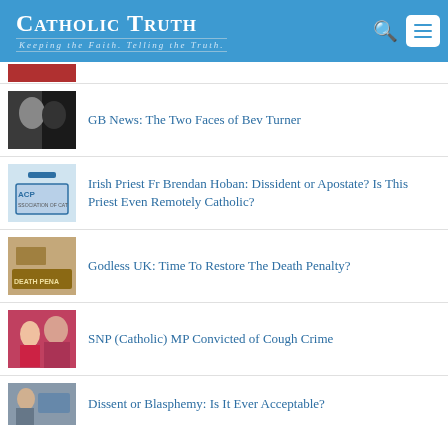Catholic Truth – Keeping the Faith. Telling the Truth.
GB News: The Two Faces of Bev Turner
Irish Priest Fr Brendan Hoban: Dissident or Apostate? Is This Priest Even Remotely Catholic?
Godless UK: Time To Restore The Death Penalty?
SNP (Catholic) MP Convicted of Cough Crime
Dissent or Blasphemy: Is It Ever Acceptable?